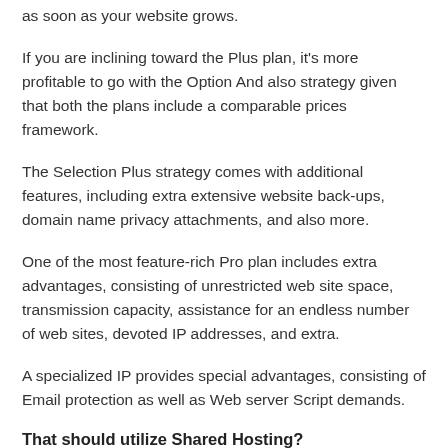as soon as your website grows.
If you are inclining toward the Plus plan, it's more profitable to go with the Option And also strategy given that both the plans include a comparable prices framework.
The Selection Plus strategy comes with additional features, including extra extensive website back-ups, domain name privacy attachments, and also more.
One of the most feature-rich Pro plan includes extra advantages, consisting of unrestricted web site space, transmission capacity, assistance for an endless number of web sites, devoted IP addresses, and extra.
A specialized IP provides special advantages, consisting of Email protection as well as Web server Script demands.
That should utilize Shared Hosting?